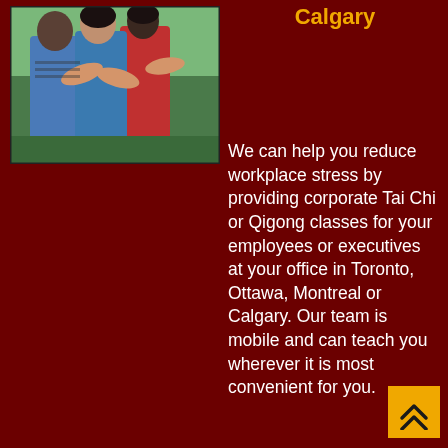Calgary
[Figure (photo): People practicing Tai Chi or Qigong outdoors, visible hands and arms in motion, figures in blue, striped, and red clothing against a green background.]
We can help you reduce workplace stress by providing corporate Tai Chi or Qigong classes for your employees or executives at your office in Toronto, Ottawa, Montreal or Calgary. Our team is mobile and can teach you wherever it is most convenient for you.